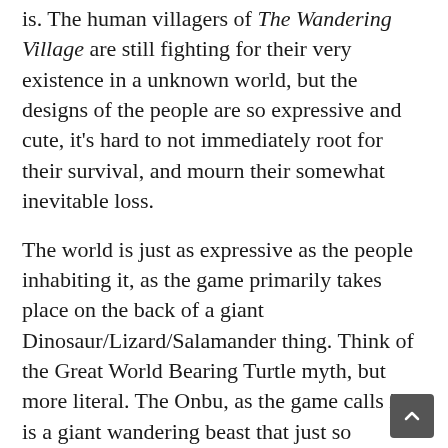is. The human villagers of The Wandering Village are still fighting for their very existence in a unknown world, but the designs of the people are so expressive and cute, it's hard to not immediately root for their survival, and mourn their somewhat inevitable loss.
The world is just as expressive as the people inhabiting it, as the game primarily takes place on the back of a giant Dinosaur/Lizard/Salamander thing. Think of the Great World Bearing Turtle myth, but more literal. The Onbu, as the game calls it, is a giant wandering beast that just so happens to have a perfectly livable biome on its back, so the villagers decide to hop on for a ride. The crux of The Wandering Village is not only that you have to make sure your human villagers survive, but also the Onbu as well. As the Onbu Wanders through the world, it passes through neighboring towns, deserts, forests and mountains in search of food and to